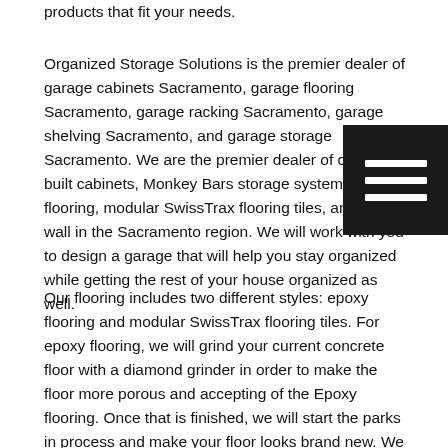products that fit your needs.
Organized Storage Solutions is the premier dealer of garage cabinets Sacramento, garage flooring Sacramento, garage racking Sacramento, garage shelving Sacramento, and garage storage Sacramento. We are the premier dealer of custom built cabinets, Monkey Bars storage systems, epoxy flooring, modular SwissTrax flooring tiles, and flat wall in the Sacramento region. We will work with you to design a garage that will help you stay organized while getting the rest of your house organized as well.
Our flooring includes two different styles: epoxy flooring and modular SwissTrax flooring tiles. For epoxy flooring, we will grind your current concrete floor with a diamond grinder in order to make the floor more porous and accepting of the Epoxy flooring. Once that is finished, we will start the parks in process and make your floor looks brand new. We so many different colors of epoxy flooring